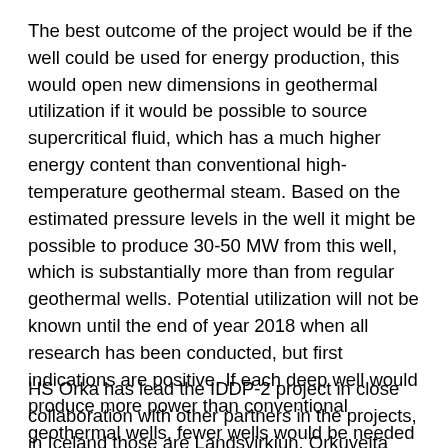The best outcome of the project would be if the well could be used for energy production, this would open new dimensions in geothermal utilization if it would be possible to source supercritical fluid, which has a much higher energy content than conventional high-temperature geothermal steam. Based on the estimated pressure levels in the well it might be possible to produce 30-50 MW from this well, which is substantially more than from regular geothermal wells. Potential utilization will not be known until the end of year 2018 when all research has been conducted, but first indications are positive. If each deep well would produce more power than conventional geothermal wells, fewer wells would be needed for energy production which would lead to less environmental impact and lower cost than we know today.
HS Orka has lead the IDDP-2 project in close collaboration with other partners in the projects, in Iceland those are Landsvirkjun, Orkuveita Reykjavíkur and the National